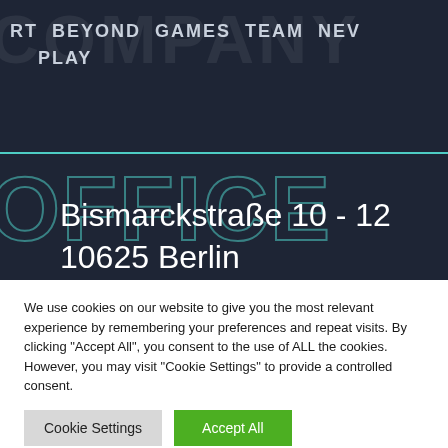RT  BEYOND  GAMES  TEAM  NEV  PLAY
[Figure (screenshot): Dark navy background with large watermark text 'COMPANY' and 'OFFICE', a teal horizontal line, and navigation menu items]
Bismarckstraße 10 - 12
10625 Berlin
We use cookies on our website to give you the most relevant experience by remembering your preferences and repeat visits. By clicking "Accept All", you consent to the use of ALL the cookies. However, you may visit "Cookie Settings" to provide a controlled consent.
Cookie Settings
Accept All